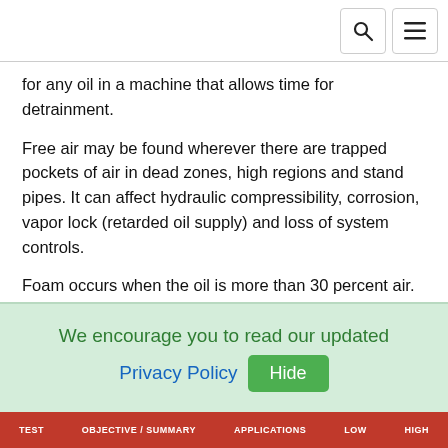for any oil in a machine that allows time for detrainment.
Free air may be found wherever there are trapped pockets of air in dead zones, high regions and stand pipes. It can affect hydraulic compressibility, corrosion, vapor lock (retarded oil supply) and loss of system controls.
Foam occurs when the oil is more than 30 percent air. It may be seen on the fluid surfaces of highly aerated tanks and sumps. Excessive foam can ooze out of a machine and/or cause hydraulic compressibility issues, corrosion, vapor lock and loss of system controls.
Although all states of air in oil can be harmful, entrained air has arguably the greatest potential to cause damage, as it can
We encourage you to read our updated Privacy Policy Hide
TEST | OBJECTIVE / SUMMARY | APPLICATIONS | LOW | HIGH